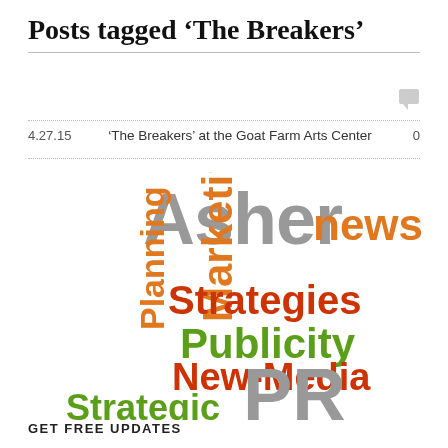Posts tagged ‘The Breakers’
4.27.15   ‘The Breakers’ at the Goat Farm Arts Center   0
[Figure (infographic): Word cloud featuring the words: Asher (large, gray), news (large, orange), Strategies (large, red-orange), Marketing (large, orange, vertical), Planning (medium, orange, vertical), Publicity (large, green), New-Media (large, red-orange), fund-raising (medium, orange, vertical), PR (large, gray), Strategic (large, green)]
GET FREE UPDATES